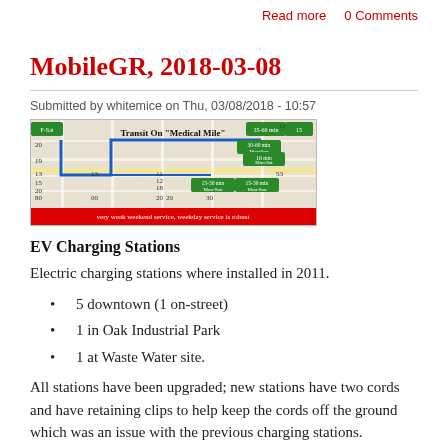Read more   0 Comments
MobileGR, 2018-03-08
Submitted by whitemice on Thu, 03/08/2018 - 10:57
[Figure (map): Transit On "Medical Mile" map showing bus routes and stop frequencies in Grand Rapids, with a red banner at the bottom reading 'very weak weekend service, weekday service is robust']
EV Charging Stations
Electric charging stations where installed in 2011.
5 downtown (1 on-street)
1 in Oak Industrial Park
1 at Waste Water site.
All stations have been upgraded; new stations have two cords and have retaining clips to help keep the cords off the ground which was an issue with the previous charging stations.
To...